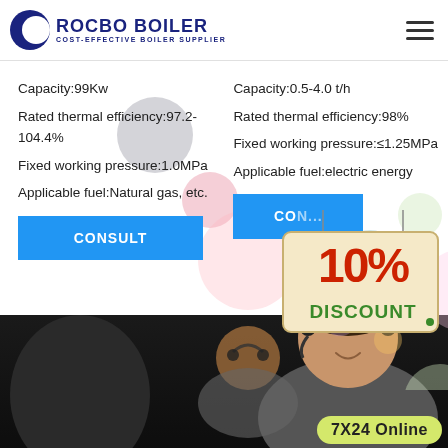[Figure (logo): Rocbo Boiler logo with crescent moon icon and text 'ROCBO BOILER - COST-EFFECTIVE BOILER SUPPLIER']
Capacity:99Kw
Rated thermal efficiency:97.2-104.4%
Fixed working pressure:1.0MPa
Applicable fuel:Natural gas, etc.
Capacity:0.5-4.0 t/h
Rated thermal efficiency:98%
Fixed working pressure:≤1.25MPa
Applicable fuel:electric energy
[Figure (infographic): 10% DISCOUNT promotional sign with hanging board design]
[Figure (photo): Customer service representative wearing headset, smiling, with another agent in background. Dark bottom strip with '7X24 Online' badge.]